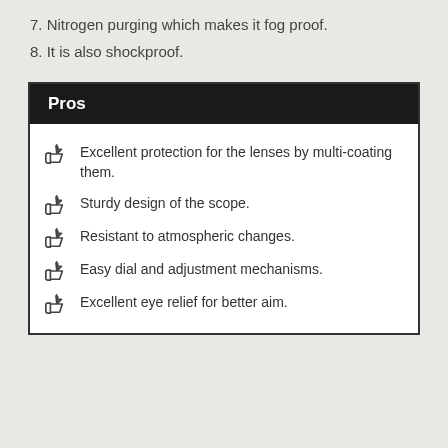7. Nitrogen purging which makes it fog proof.
8. It is also shockproof.
Pros
Excellent protection for the lenses by multi-coating them.
Sturdy design of the scope.
Resistant to atmospheric changes.
Easy dial and adjustment mechanisms.
Excellent eye relief for better aim.